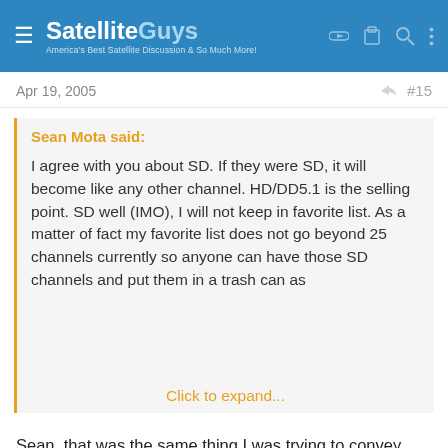SatelliteGuys — America's Best Satellite Discussion & So Much More!
Apr 19, 2005   #15
Sean Mota said:

I agree with you about SD. If they were SD, it will become like any other channel. HD/DD5.1 is the selling point. SD well (IMO), I will not keep in favorite list. As a matter of fact my favorite list does not go beyond 25 channels currently so anyone can have those SD channels and put them in a trash can as
Click to expand...
Sean, that was the same thing I was trying to convey. Indy said he would sub to the channels even if they were in SD. If these channels were provided in SD the content isn't compelling enough to subscribe by most people. It is being in HD that makes those channels...